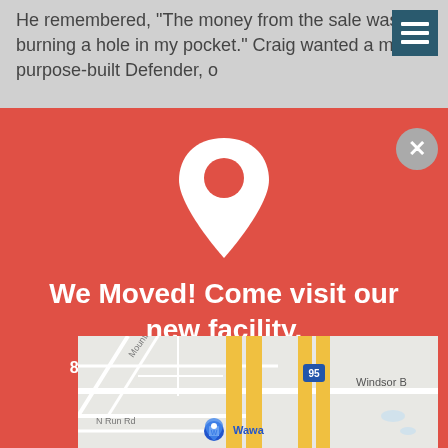He remembered, "The money from the sale was burning a hole in my pocket." Craig wanted a more purpose-built Defender, o...
We Moved! Come visit our new facility.
8611 Telegraph RD, Glen Allen, VA 23060
[Figure (map): Street map showing Glen Allen, VA area near Telegraph RD and I-95, with labels for Mountain Rd, N Run Rd, Windsor B, Wawa, and interstate 95.]